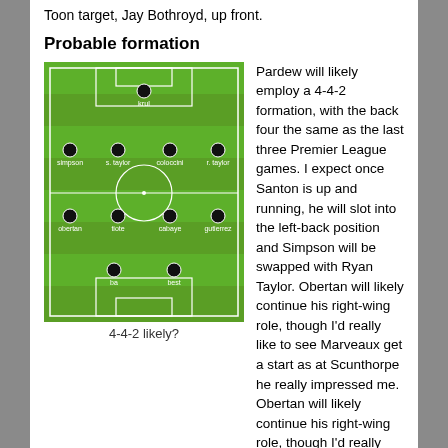Toon target, Jay Bothroyd, up front.
Probable formation
[Figure (other): Football pitch diagram showing 4-4-2 formation with players: krul (goalkeeper), simpson, s.taylor, coloccini, r.taylor (defenders), obertan, tiote, cabaye, gutierrez (midfielders), ba, best (forwards)]
4-4-2 likely?
Pardew will likely employ a 4-4-2 formation, with the back four the same as the last three Premier League games. I expect once Santon is up and running, he will slot into the left-back position and Simpson will be swapped with Ryan Taylor. Obertan will likely continue his right-wing role, though I'd really like to see Marveaux get a start as at Scunthorpe he really impressed me. Personally, I'd prefer a 4-2-3-1 formation, and include Gosling or Marveaux in the starting eleven as I don't see Best and Ba combining